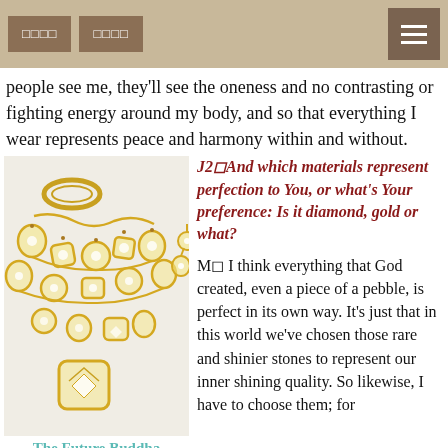□□□□  □□□□  ☰
people see me, they'll see the oneness and no contrasting or fighting energy around my body, and so that everything I wear represents peace and harmony within and without.
[Figure (photo): Gold jewelry set including necklace, earrings, and ring with diamond accents]
The Future Buddha
J2◻And which materials represent perfection to You, or what's Your preference: Is it diamond, gold or what?
M◻ I think everything that God created, even a piece of a pebble, is perfect in its own way. It's just that in this world we've chosen those rare and shinier stones to represent our inner shining quality. So likewise, I have to choose them; for example, diamonds, opals, rubies and so on. Since the people of the world like them, I can't just give people things that they don't like. I
example, diamonds, opals, rubies and so on. Since the people of the world like them, I can't just give people things that they don't like. I